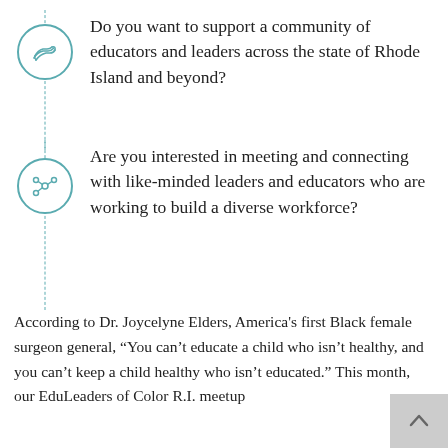Do you want to support a community of educators and leaders across the state of Rhode Island and beyond?
Are you interested in meeting and connecting with like-minded leaders and educators who are working to build a diverse workforce?
According to Dr. Joycelyne Elders, America’s first Black female surgeon general, “You can’t educate a child who isn’t healthy, and you can’t keep a child healthy who isn’t educated.” This month, our EduLeaders of Color R.I. meetup